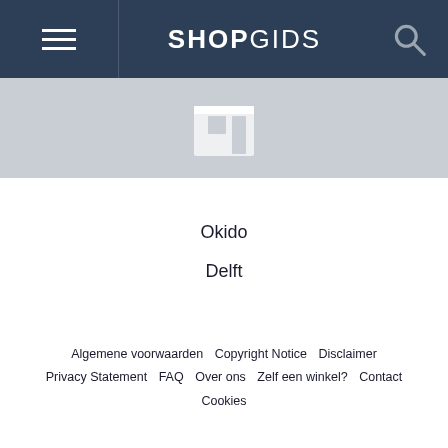SHOPGIDS
[Figure (illustration): Grey placeholder image area with a white store/building icon silhouette in center]
Okido
Delft
Sorteren op: MEEST POPULAIR ▾
Algemene voorwaarden  Copyright Notice  Disclaimer  Privacy Statement  FAQ  Over ons  Zelf een winkel?  Contact  Cookies